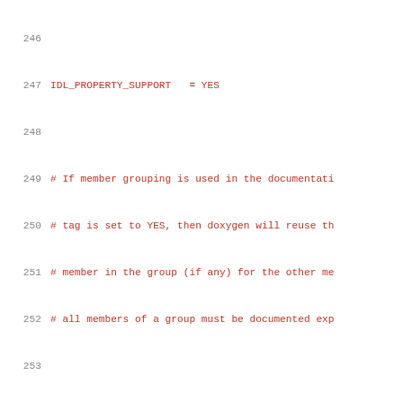Code listing lines 246-266 of a Doxygen configuration file
246  (empty line)
247  IDL_PROPERTY_SUPPORT   = YES
248  (empty line)
249  # If member grouping is used in the documentati
250  # tag is set to YES, then doxygen will reuse th
251  # member in the group (if any) for the other me
252  # all members of a group must be documented exp
253  (empty line)
254  DISTRIBUTE_GROUP_DOC   = NO
255  (empty line)
256  # Set the SUBGROUPING tag to YES (the default)
257  # the same type (for instance a group of public
258  # subgroup of that type (e.g. under the Public
259  # NO to prevent subgrouping. Alternatively, thi
260  # the \nosubgrouping command.
261  (empty line)
262  SUBGROUPING              = YES
263  (empty line)
264  (empty line)
265  # When TYPEDEF_HIDES_STRUCT is enabled, a typed
266  # is documented as struct, union, or enum with